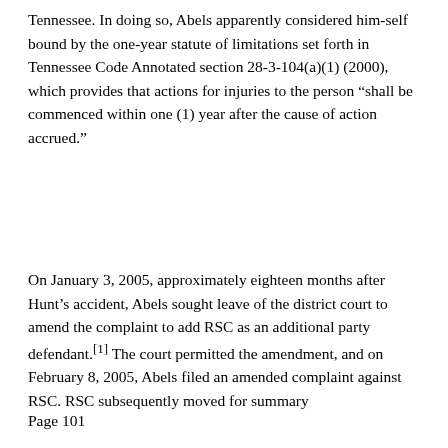Tennessee. In doing so, Abels apparently considered him-self bound by the one-year statute of limitations set forth in Tennessee Code Annotated section 28-3-104(a)(1) (2000), which provides that actions for injuries to the person “shall be commenced within one (1) year after the cause of action accrued.”
On January 3, 2005, approximately eighteen months after Hunt’s accident, Abels sought leave of the district court to amend the complaint to add RSC as an additional party defendant.[1] The court permitted the amendment, and on February 8, 2005, Abels filed an amended complaint against RSC. RSC subsequently moved for summary
Page 101